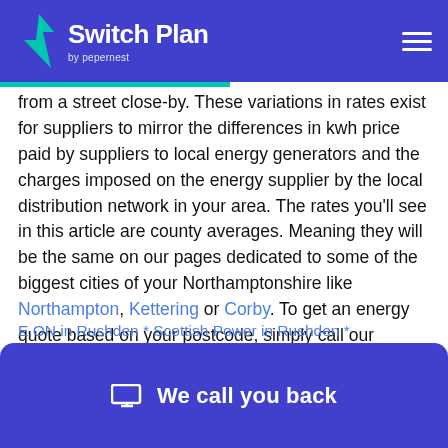Switch Plan by pepernest
from a street close-by. These variations in rates exist for suppliers to mirror the differences in kwh price paid by suppliers to local energy generators and the charges imposed on the energy supplier by the local distribution network in your area. The rates you'll see in this article are county averages. Meaning they will be the same on our pages dedicated to some of the biggest cities of your Northamptonshire like Northampton, Kettering or Corby. To get an energy quote based on your postcode, simply call our experts at 0330 054 0018. They will review all the different options for your home and advise you on the one that best suits your needs. Or if you feel like digging
E.ON in Rushden * Scottish Power in Rushden *
[Figure (other): We call you back button with monitor icon]